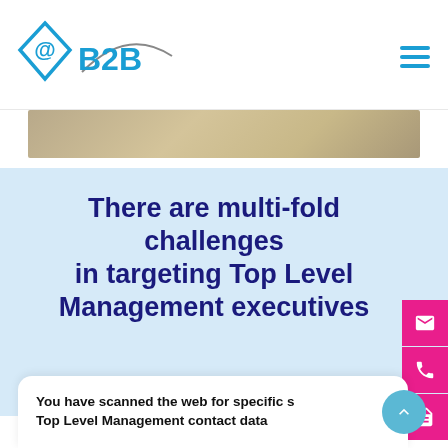@B2B logo and navigation menu
[Figure (illustration): Gold/beige decorative banner strip]
There are multi-fold challenges in targeting Top Level Management executives
You have scanned the web for specific s... Top Level Management contact data